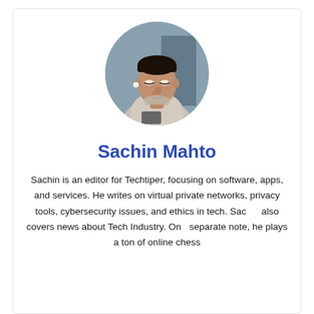[Figure (photo): Circular profile photo of Sachin Mahto, a young man wearing earbuds and a light-colored jacket, looking down at a device.]
Sachin Mahto
Sachin is an editor for Techtiper, focusing on software, apps, and services. He writes on virtual private networks, privacy tools, cybersecurity issues, and ethics in tech. Sachin also covers news about Tech Industry. On a separate note, he plays a ton of online chess